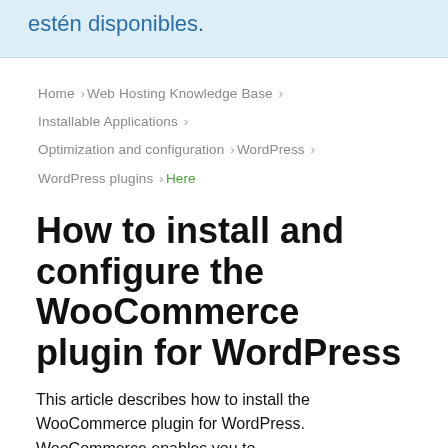estén disponibles.
Home › Web Hosting Knowledge Base › Installable Applications › Optimization and configuration › WordPress › WordPress plugins › Here
How to install and configure the WooCommerce plugin for WordPress
This article describes how to install the WooCommerce plugin for WordPress. WooCommerce enables you to